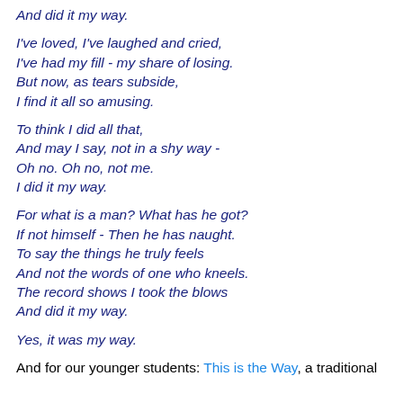And did it my way.
I've loved, I've laughed and cried,
I've had my fill - my share of losing.
But now, as tears subside,
I find it all so amusing.
To think I did all that,
And may I say, not in a shy way -
Oh no. Oh no, not me.
I did it my way.
For what is a man? What has he got?
If not himself - Then he has naught.
To say the things he truly feels
And not the words of one who kneels.
The record shows I took the blows
And did it my way.
Yes, it was my way.
And for our younger students: This is the Way, a traditional